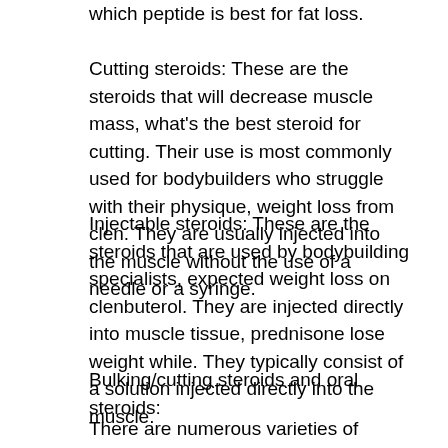which peptide is best for fat loss.
Cutting steroids: These are the steroids that will decrease muscle mass, what's the best steroid for cutting. Their use is most commonly used for bodybuilders who struggle with their physique, weight loss from clen. They are usually injected into the muscle without the use of a needle or a syringe.
Injectable steroids: These are the steroids that are used by bodybuilding specialists, expected weight loss on clenbuterol. They are injected directly into muscle tissue, prednisone lose weight while. They typically consist of a solution injected directly into the muscle.
Bulking/cutting steroids and oral steroids:
There are numerous varieties of steroids in